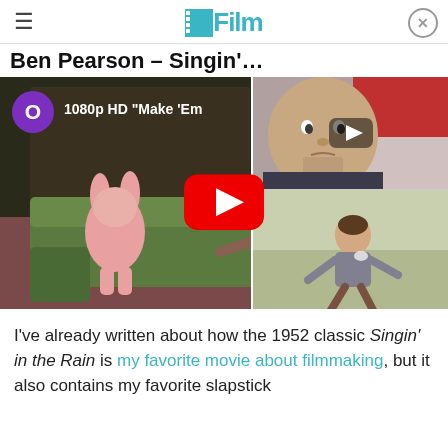≡  /Film  ⊗
Ben Pearson – Singin'…
[Figure (screenshot): YouTube video player showing a scene from Singin' in the Rain (1952) with a pink stuffed animal on a green couch and a man sitting on the same couch. A large red YouTube play button is centered. In the top-right corner is a smaller inset video showing a man's face with a play button overlay. Below that is another inset showing a dancing man. In the top-left is a purple circle with 'O', and beside it '1080p HD "Make 'Em'.]
I've already written about how the 1952 classic Singin' in the Rain is my favorite movie about filmmaking, but it also contains my favorite slapstick